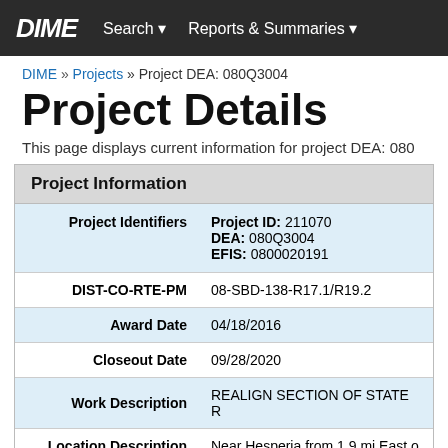DIME  Search ▾  Reports & Summaries ▾
DIME » Projects » Project DEA: 080Q3004
Project Details
This page displays current information for project DEA: 080Q3004.
| Field | Value |
| --- | --- |
| Project Identifiers | Project ID: 211070
DEA: 080Q3004
EFIS: 0800020191 |
| DIST-CO-RTE-PM | 08-SBD-138-R17.1/R19.2 |
| Award Date | 04/18/2016 |
| Closeout Date | 09/28/2020 |
| Work Description | REALIGN SECTION OF STATE R… |
| Location Description | Near Hesperia from 1.9 mi East o… |